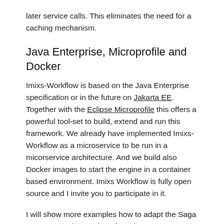later service calls. This eliminates the need for a caching mechanism.
Java Enterprise, Microprofile and Docker
Imixs-Workflow is based on the Java Enterprise specification or in the future on Jakarta EE. Together with the Eclipse Microprofile this offers a powerful tool-set to build, extend and run this framework. We already have implemented Imixs-Workflow as a microservice to be run in a micorservice architecture. And we build also Docker images to start the engine in a container based environment. Imixs Workflow is fully open source and I invite you to participate in it.
I will show more examples how to adapt the Saga Pattern soon in my Blog. If you have any questions or ideas just comment or join the Imixs-Microservice